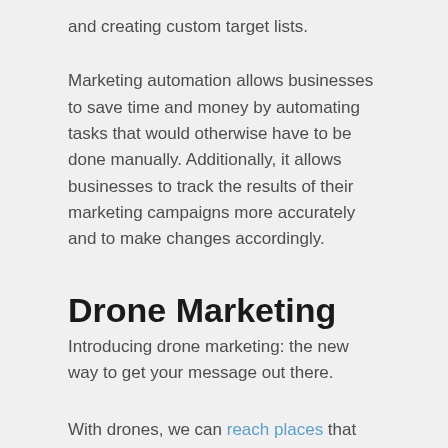and creating custom target lists.
Marketing automation allows businesses to save time and money by automating tasks that would otherwise have to be done manually. Additionally, it allows businesses to track the results of their marketing campaigns more accurately and to make changes accordingly.
Drone Marketing
Introducing drone marketing: the new way to get your message out there.
With drones, we can reach places that other forms of marketing can't. We can fly them over busy city streets or take them deep into the wilderness to capture